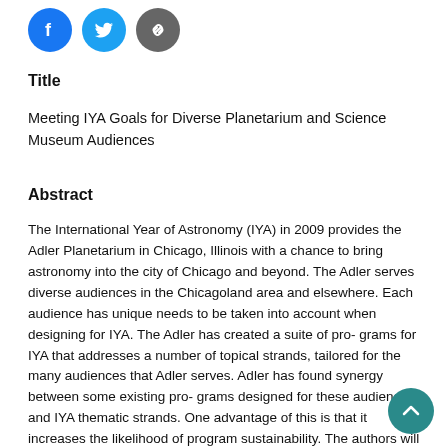[Figure (illustration): Three circular social sharing icons: Facebook (blue), Twitter (light blue), and a chain-link/share icon (gray)]
Title
Meeting IYA Goals for Diverse Planetarium and Science Museum Audiences
Abstract
The International Year of Astronomy (IYA) in 2009 provides the Adler Planetarium in Chicago, Illinois with a chance to bring astronomy into the city of Chicago and beyond. The Adler serves diverse audiences in the Chicagoland area and elsewhere. Each audience has unique needs to be taken into account when designing for IYA. The Adler has created a suite of pro- grams for IYA that addresses a number of topical strands, tailored for the many audiences that Adler serves. Adler has found synergy between some existing pro- grams designed for these audiences and IYA thematic strands. One advantage of this is that it increases the likelihood of program sustainability. The authors will outline some of Adler's program plans to date from person-to-person community outreach programs such as Caf́e Scientifique programs, to a citizen science light pollution observation program, to programs within the institution, such as a new temporary